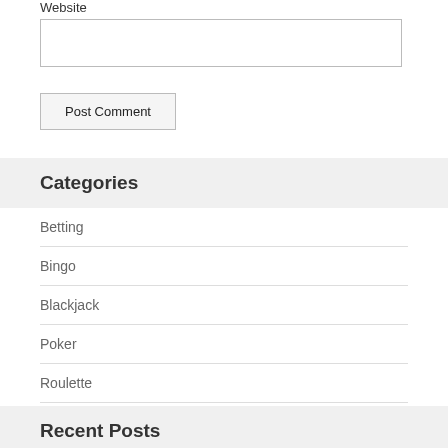Website
[input box]
Post Comment
Categories
Betting
Bingo
Blackjack
Poker
Roulette
Slot Machines
Recent Posts